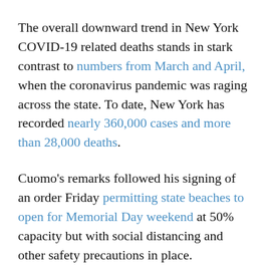The overall downward trend in New York COVID-19 related deaths stands in stark contrast to numbers from March and April, when the coronavirus pandemic was raging across the state. To date, New York has recorded nearly 360,000 cases and more than 28,000 deaths.
Cuomo's remarks followed his signing of an order Friday permitting state beaches to open for Memorial Day weekend at 50% capacity but with social distancing and other safety precautions in place.
A day ahead of Memorial Day, Cuomo also announced all campgrounds and RV parks would be able to reopen on Monday.
New York veterinarian practices will be allowed to open up